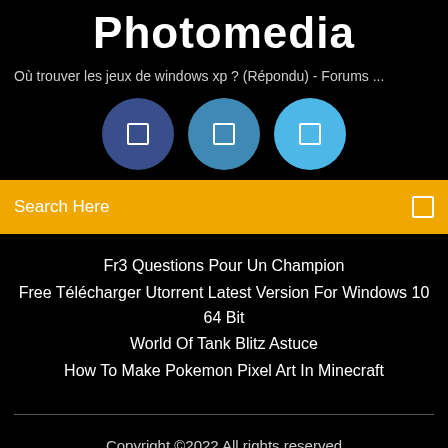Photomedia
Où trouver les jeux de windows xp ? (Répondu) - Forums ...
[Figure (infographic): Three circular icons in a row: dark blue, medium blue, and light blue circles each containing a small white rectangle icon]
Search Here
Fr3 Questions Pour Un Champion
Free Télécharger Utorrent Latest Version For Windows 10 64 Bit
World Of Tank Blitz Astuce
How To Make Pokemon Pixel Art In Minecraft
Copyright ©2022 All rights reserved